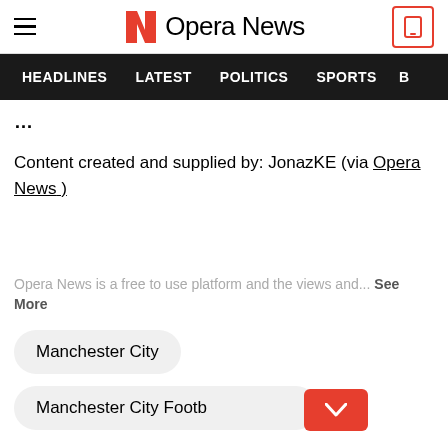Opera News
HEADLINES  LATEST  POLITICS  SPORTS
Content created and supplied by: JonazKE (via Opera News )
Opera News is a free to use platform and the views and... See More
Manchester City
Manchester City Football Club